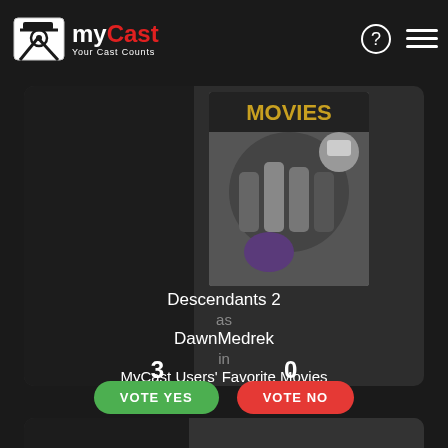myCast — Your Cast Counts
[Figure (screenshot): Movie poster for Descendants 2 showing cast of characters]
Descendants 2
as
DawnMedrek
in
MyCast Users' Favorite Movies
3
0
VOTE YES
VOTE NO